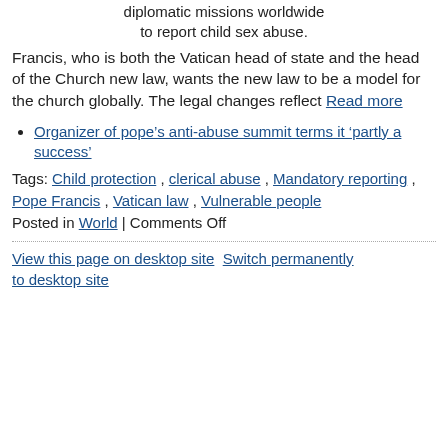diplomatic missions worldwide to report child sex abuse.
Francis, who is both the Vatican head of state and the head of the Church new law, wants the new law to be a model for the church globally. The legal changes reflect Read more
Organizer of pope’s anti-abuse summit terms it ‘partly a success’
Tags: Child protection , clerical abuse , Mandatory reporting , Pope Francis , Vatican law , Vulnerable people
Posted in World | Comments Off
View this page on desktop site  Switch permanently to desktop site